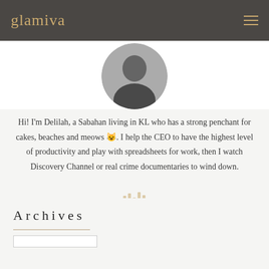glamiva
[Figure (photo): Circular profile photo of a person with dark hair against a white background]
Hi! I'm Delilah, a Sabahan living in KL who has a strong penchant for cakes, beaches and meows 😺. I help the CEO to have the highest level of productivity and play with spreadsheets for work, then I watch Discovery Channel or real crime documentaries to wind down.
Archives